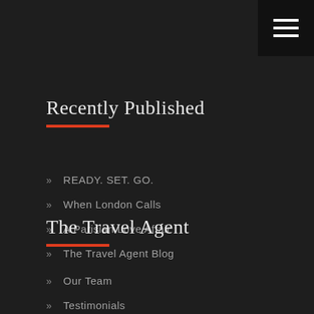Recently Published
READY. SET. GO.
When London Calls
A Parisian Love Affair
The Travel Agent Blog
The Travel Agent
Our Team
Testimonials